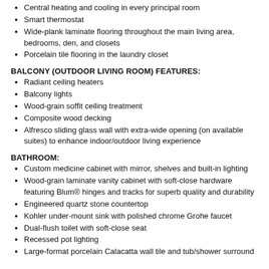Central heating and cooling in every principal room
Smart thermostat
Wide-plank laminate flooring throughout the main living area, bedrooms, den, and closets
Porcelain tile flooring in the laundry closet
BALCONY (OUTDOOR LIVING ROOM) FEATURES:
Radiant ceiling heaters
Balcony lights
Wood-grain soffit ceiling treatment
Composite wood decking
Alfresco sliding glass wall with extra-wide opening (on available suites) to enhance indoor/outdoor living experience
BATHROOM:
Custom medicine cabinet with mirror, shelves and built-in lighting
Wood-grain laminate vanity cabinet with soft-close hardware featuring Blum® hinges and tracks for superb quality and durability
Engineered quartz stone countertop
Kohler under-mount sink with polished chrome Grohe faucet
Dual-flush toilet with soft-close seat
Recessed pot lighting
Large-format porcelain Calacatta wall tile and tub/shower surround